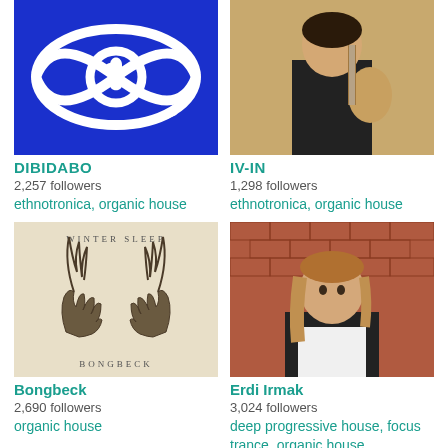[Figure (photo): Blue logo with white eye and music note symbol — DIBIDABO artist image]
DIBIDABO
2,257 followers
ethnotronica, organic house
[Figure (photo): Person playing guitar in black t-shirt — IV-IN artist photo]
IV-IN
1,298 followers
ethnotronica, organic house
[Figure (illustration): Album art showing two hands with feathers, text WINTER SLEEP and BONGBECK — Bongbeck cover]
Bongbeck
2,690 followers
organic house
[Figure (photo): Young man with long hair against brick wall holding paper — Erdi Irmak artist photo]
Erdi Irmak
3,024 followers
deep progressive house, focus trance, organic house